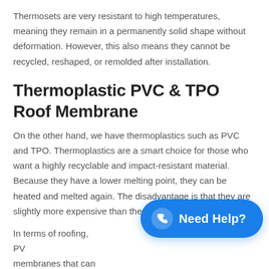Thermosets are very resistant to high temperatures, meaning they remain in a permanently solid shape without deformation. However, this also means they cannot be recycled, reshaped, or remolded after installation.
Thermoplastic PVC & TPO Roof Membrane
On the other hand, we have thermoplastics such as PVC and TPO. Thermoplastics are a smart choice for those who want a highly recyclable and impact-resistant material. Because they have a lower melting point, they can be heated and melted again. The disadvantage is that they are slightly more expensive than thermosets.
In terms of roofing, PV membranes that can r Do take note that there are larger sheets that are
[Figure (other): Blue rounded rectangle call-to-action button with phone icon and text 'Need Help?']